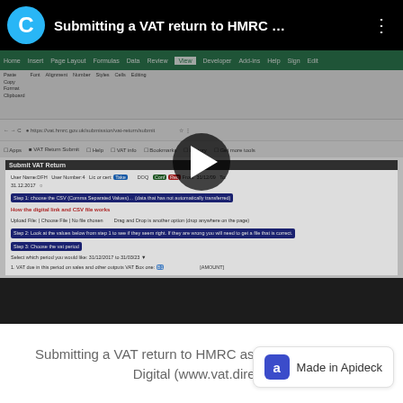[Figure (screenshot): YouTube-style video player showing a tutorial titled 'Submitting a VAT return to HMRC ...' with a channel icon 'C' in cyan, three-dots menu, and a play button overlay. The video thumbnail shows a screen recording of a browser with an Excel spreadsheet and a VAT return web form.]
Submitting a VAT return to HMRC as par... Digital (www.vat.direct)
[Figure (logo): Apideck badge with blue square icon showing 'a' and text 'Made in Apideck']